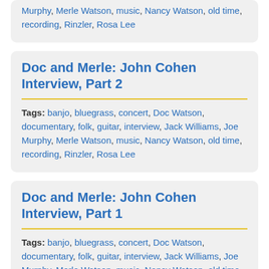Murphy, Merle Watson, music, Nancy Watson, old time, recording, Rinzler, Rosa Lee
Doc and Merle: John Cohen Interview, Part 2
Tags: banjo, bluegrass, concert, Doc Watson, documentary, folk, guitar, interview, Jack Williams, Joe Murphy, Merle Watson, music, Nancy Watson, old time, recording, Rinzler, Rosa Lee
Doc and Merle: John Cohen Interview, Part 1
Tags: banjo, bluegrass, concert, Doc Watson, documentary, folk, guitar, interview, Jack Williams, Joe Murphy, Merle Watson, music, Nancy Watson, old time, recording, Rinzler, Rosa Lee